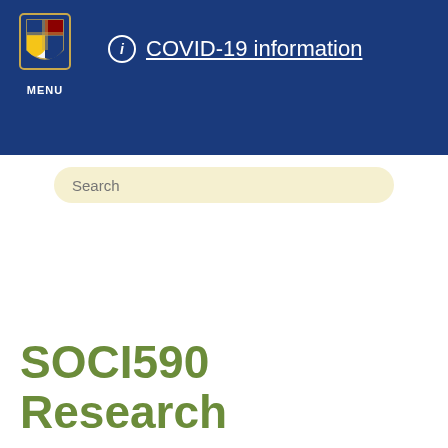[Figure (screenshot): University navigation header bar with dark blue background, university crest/logo on left with MENU label, and COVID-19 information link with info icon]
Search
SOCI590 Research